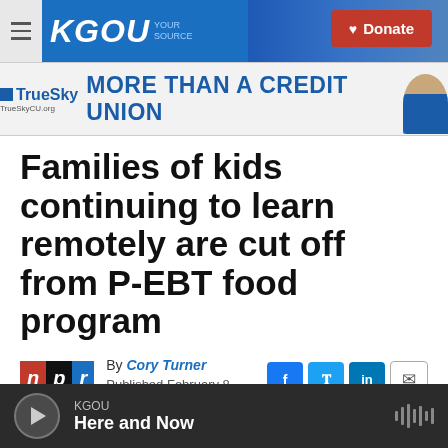KGOU — Donate
[Figure (screenshot): KGOU radio station website header with hamburger menu, KGOU blue logo, city background image, and red Donate button]
[Figure (screenshot): TrueSky Credit Union advertisement banner: TrueSky logo and MORE THAN A CREDIT UNION tagline with animated character]
Families of kids continuing to learn remotely are cut off from P-EBT food program
By Cory Turner
Published February 8, 2022 at 3:28 PM CST
KGOU Here and Now